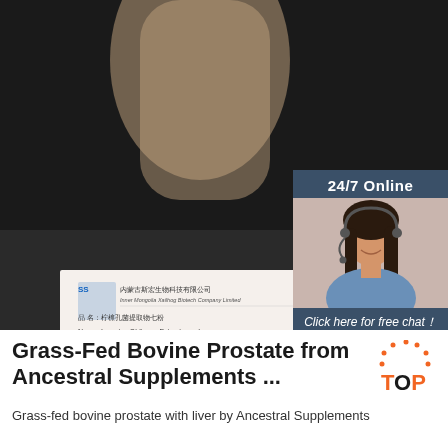[Figure (photo): Product photo showing a glass bottle and bowl with brown powder (extract), and a label card from Inner Mongolia Xailhog Biotech Company Limited showing 'Inonotus Obliquus Extract powder', shelf life 36 months]
[Figure (infographic): 24/7 Online chat widget with photo of smiling woman wearing headset, 'Click here for free chat!' text and orange QUOTATION button]
[Figure (logo): Orange 'TOP' badge with dotted arc above]
Grass-Fed Bovine Prostate from Ancestral Supplements ...
Grass-fed bovine prostate with liver by Ancestral Supplements